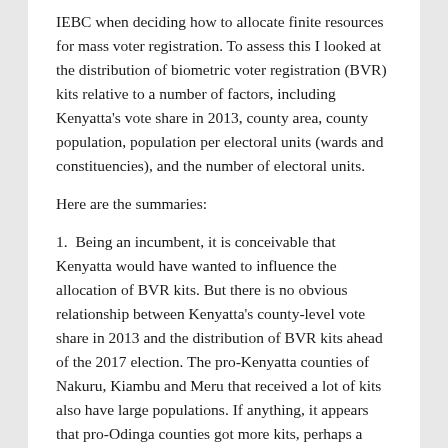IEBC when deciding how to allocate finite resources for mass voter registration. To assess this I looked at the distribution of biometric voter registration (BVR) kits relative to a number of factors, including Kenyatta's vote share in 2013, county area, county population, population per electoral units (wards and constituencies), and the number of electoral units.
Here are the summaries:
1.  Being an incumbent, it is conceivable that Kenyatta would have wanted to influence the allocation of BVR kits. But there is no obvious relationship between Kenyatta's county-level vote share in 2013 and the distribution of BVR kits ahead of the 2017 election. The pro-Kenyatta counties of Nakuru, Kiambu and Meru that received a lot of kits also have large populations. If anything, it appears that pro-Odinga counties got more kits, perhaps a reflection of the fact they had